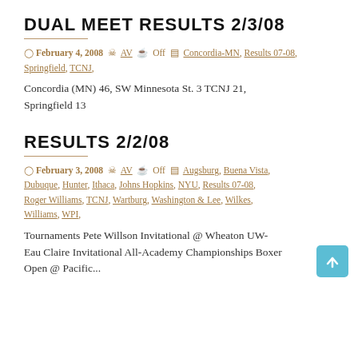DUAL MEET RESULTS 2/3/08
February 4, 2008  AV  Off  Concordia-MN, Results 07-08, Springfield, TCNJ,
Concordia (MN) 46, SW Minnesota St. 3 TCNJ 21, Springfield 13
RESULTS 2/2/08
February 3, 2008  AV  Off  Augsburg, Buena Vista, Dubuque, Hunter, Ithaca, Johns Hopkins, NYU, Results 07-08, Roger Williams, TCNJ, Wartburg, Washington & Lee, Wilkes, Williams, WPI,
Tournaments Pete Willson Invitational @ Wheaton UW-Eau Claire Invitational All-Academy Championships Boxer Open @ Pacific...